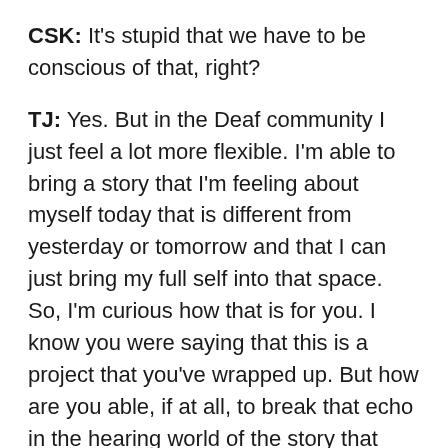CSK: It's stupid that we have to be conscious of that, right?
TJ: Yes. But in the Deaf community I just feel a lot more flexible. I'm able to bring a story that I'm feeling about myself today that is different from yesterday or tomorrow and that I can just bring my full self into that space. So, I'm curious how that is for you. I know you were saying that this is a project that you've wrapped up. But how are you able, if at all, to break that echo in the hearing world of the story that you're able to tell yourself about yourself directly?
CSK: Well, first of all this is why I'm so excited for us to be able to do this interview today. It's so different to be able to conduct it in sign language and to directly communicate. And then working,